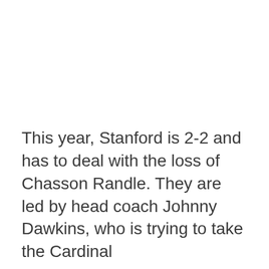This year, Stanford is 2-2 and has to deal with the loss of Chasson Randle. They are led by head coach Johnny Dawkins, who is trying to take the Cardinal